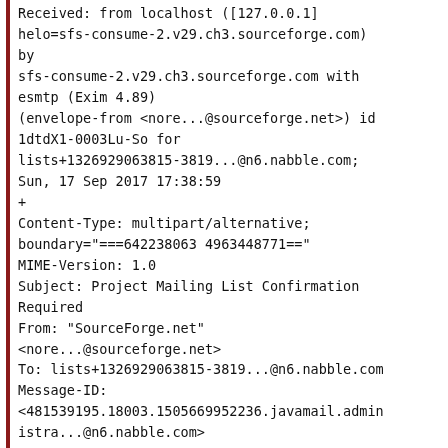Received: from localhost ([127.0.0.1]
helo=sfs-consume-2.v29.ch3.sourceforge.com)
by
sfs-consume-2.v29.ch3.sourceforge.com with
esmtp (Exim 4.89)
(envelope-from <nore...@sourceforge.net>) id
1dtdX1-0003Lu-So for
lists+1326929063815-3819...@n6.nabble.com;
Sun, 17 Sep 2017 17:38:59
+
Content-Type: multipart/alternative;
boundary="===642238063 49634 48771=="
MIME-Version: 1.0
Subject: Project Mailing List Confirmation
Required
From: "SourceForge.net"
<nore...@sourceforge.net>
To: lists+1326929063815-3819...@n6.nabble.com
Message-ID:
<481539195.18003.1505669952236.javamail.admin
istra...@n6.nabble.com>
Date: Sun, 17 Sep 2017 17:38:59 +
Reply-To: